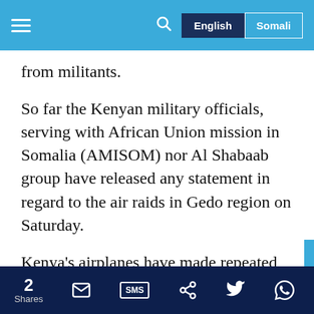English | Somali
from militants.
So far the Kenyan military officials, serving with African Union mission in Somalia (AMISOM) nor Al Shabaab group have released any statement in regard to the air raids in Gedo region on Saturday.
Kenya's airplanes have made repeated airstrikes in Gedo region in southern Somalia since its troops crossed into its war-torn neighbour in
2 Shares